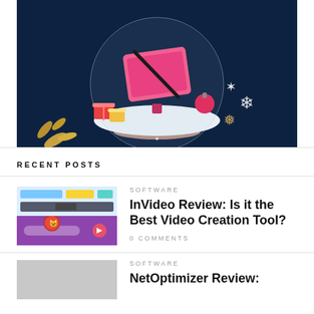[Figure (illustration): A decorative snow globe illustration on a dark navy background. Inside the globe is a pink monitor/iMac with a slash through the screen, surrounded by snowflakes, Christmas ornaments, and gift boxes. Golden botanical leaves decorate the bottom left. The globe sits on a rose gold base.]
RECENT POSTS
[Figure (screenshot): Thumbnail for InVideo review post — top half shows a light blue browser screenshot with colorful interface elements; bottom half shows a purple background with a cat wearing sunglasses.]
SOFTWARE
InVideo Review: Is it the Best Video Creation Tool?
0 COMMENTS
[Figure (screenshot): Thumbnail for NetOptimizer review post — gray placeholder image.]
SOFTWARE
NetOptimizer Review: